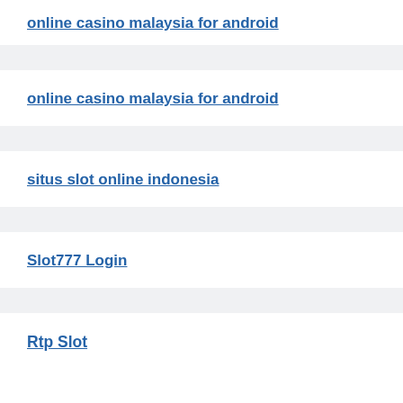online casino malaysia for android
online casino malaysia for android
situs slot online indonesia
Slot777 Login
Rtp Slot